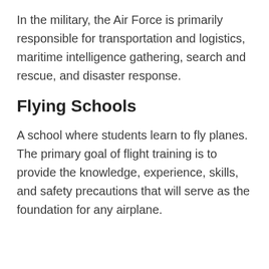In the military, the Air Force is primarily responsible for transportation and logistics, maritime intelligence gathering, search and rescue, and disaster response.
Flying Schools
A school where students learn to fly planes. The primary goal of flight training is to provide the knowledge, experience, skills, and safety precautions that will serve as the foundation for any airplane.